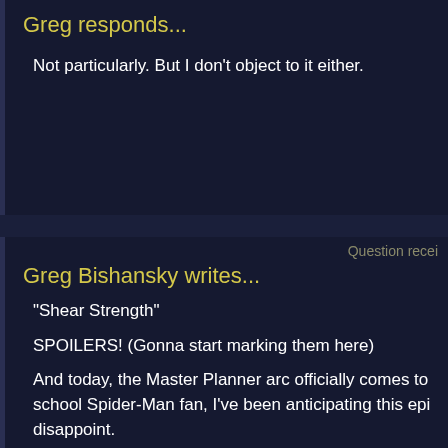Greg responds...
Not particularly. But I don't object to it either.
Question recei
Greg Bishansky writes...
"Shear Strength"
SPOILERS! (Gonna start marking them here)
And today, the Master Planner arc officially comes to school Spider-Man fan, I've been anticipating this epi disappoint.
We open up with the identity of the Master Planner. M honestly, there is no way it could have ever been any top form in this episode. Loved him, and Peter MacN so calculating and menacing.
So, Doc Ock's master plan, er, sorry, Master Plan, wa He wants to take away our access to free porn! That'